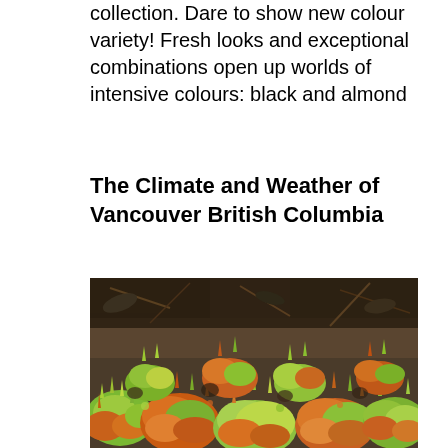collection. Dare to show new colour variety! Fresh looks and exceptional combinations open up worlds of intensive colours: black and almond
The Climate and Weather of Vancouver British Columbia
[Figure (photo): Close-up photograph of dense low-growing green and orange-red succulent or moss-like plants covering the ground, with dark soil and woody debris visible in the upper background.]